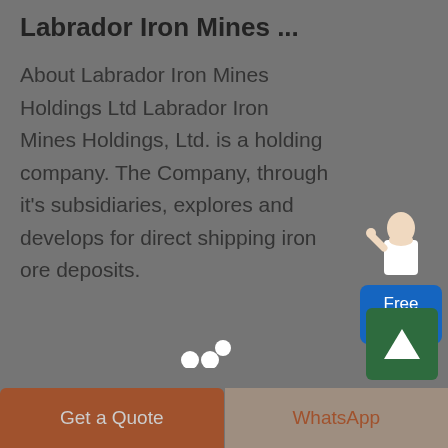Labrador Iron Mines ...
About Labrador Iron Mines Holdings Ltd Labrador Iron Mines Holdings, Ltd. is a holding company. The Company, through it's subsidiaries, explores and develops for direct shipping iron ore deposits.
[Figure (illustration): Free chat widget with customer service avatar and blue button labeled 'Free chat']
[Figure (illustration): Green scroll-to-top button with upward arrow]
Get a Quote | WhatsApp